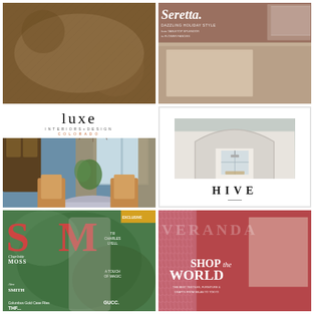[Figure (photo): Partial top-left image showing a textured, warm-toned surface (possibly a rug or textile)]
[Figure (photo): Serena magazine cover with 'Dazzling Holiday Style' text, tabletop and flowers theme, showing rich brown tones]
[Figure (photo): Luxe Interiors+Design Colorado magazine cover featuring an elegant dining room with blue walls, patterned curtains, leather chairs, and ornate table]
[Figure (photo): HIVE magazine cover featuring a white architectural hallway with arched doorway leading to a serene room with chandelier]
[Figure (photo): SW magazine cover featuring Charlotte Moss and Alex Smith text, model in gray dress against green foliage background with red large letters S and M]
[Figure (photo): Veranda magazine cover with 'SHOP the WORLD' headline, subtitle 'The Best Textiles, Furniture & Crafts from Milan to Tokyo', showing red-toned room with curtains]